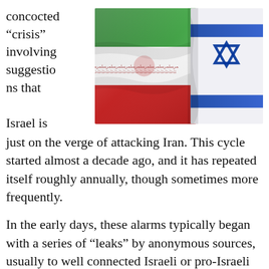concocted “crisis” involving suggestions that Israel is just on the verge of attacking Iran. This cycle started almost a decade ago, and it has repeated itself roughly annually, though sometimes more frequently.
[Figure (photo): Composite image of the Iranian flag (red, white, green with Arabic script band) and the Israeli flag (blue Star of David on white), overlapping side by side.]
In the early days, these alarms typically began with a series of “leaks” by anonymous sources, usually to well connected Israeli or pro-Israeli reporters. For years it appeared that the US and world media would bite every time, with no apparent recollection that they had heard that tune before.